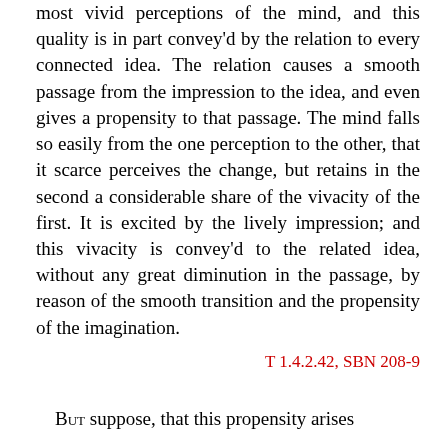most vivid perceptions of the mind, and this quality is in part convey'd by the relation to every connected idea. The relation causes a smooth passage from the impression to the idea, and even gives a propensity to that passage. The mind falls so easily from the one perception to the other, that it scarce perceives the change, but retains in the second a considerable share of the vivacity of the first. It is excited by the lively impression; and this vivacity is convey'd to the related idea, without any great diminution in the passage, by reason of the smooth transition and the propensity of the imagination.
T 1.4.2.42, SBN 208-9
But suppose, that this propensity arises